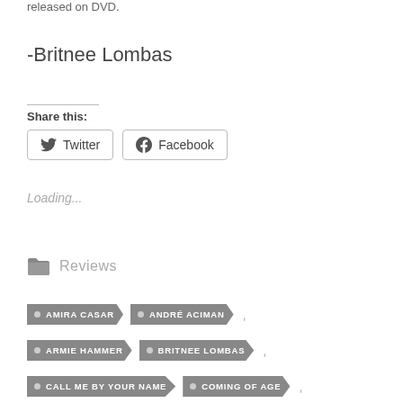released on DVD.
-Britnee Lombas
Share this:
Twitter
Facebook
Loading...
Reviews
AMIRA CASAR
ANDRÉ ACIMAN
ARMIE HAMMER
BRITNEE LOMBAS
CALL ME BY YOUR NAME
COMING OF AGE